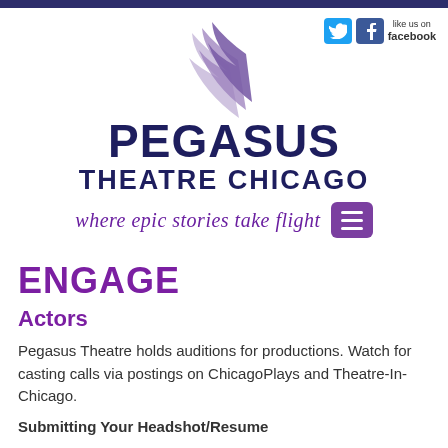[Figure (logo): Pegasus Theatre Chicago logo with purple wing strokes and dark navy text, tagline 'where epic stories take flight', Twitter and Facebook social icons, and hamburger menu button]
ENGAGE
Actors
Pegasus Theatre holds auditions for productions. Watch for casting calls via postings on ChicagoPlays and Theatre-In-Chicago.
Submitting Your Headshot/Resume